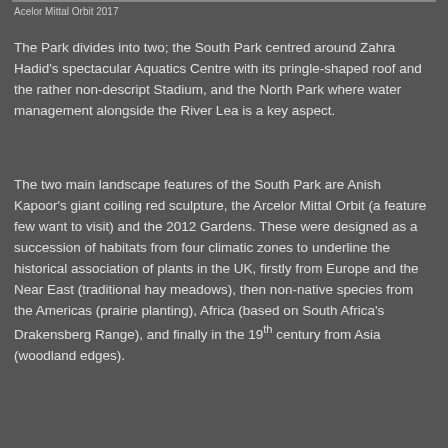Acelor Mittal Orbit 2017
The Park divides into two; the South Park centred around Zahra Hadid's spectacular Aquatics Centre with its pringle-shaped roof and the rather non-descript Stadium, and the North Park where water management alongside the River Lea is a key aspect.
The two main landscape features of the South Park are Anish Kapoor's giant coiling red sculpture, the Arcelor Mittal Orbit (a feature few want to visit) and the 2012 Gardens. These were designed as a succession of habitats from four climatic zones to underline the historical association of plants in the UK, firstly from Europe and the Near East (traditional hay meadows), then non-native species from the Americas (prairie planting), Africa (based on South Africa's Drakensberg Range), and finally in the 19th century from Asia (woodland edges).